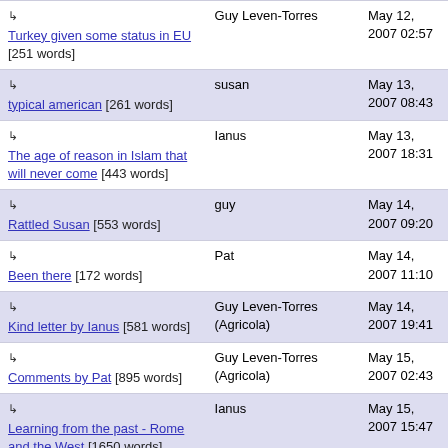| Title | Author | Date |
| --- | --- | --- |
| ↳ Turkey given some status in EU [251 words] | Guy Leven-Torres | May 12, 2007 02:57 |
| ↳ typical american [261 words] | susan | May 13, 2007 08:43 |
| ↳ The age of reason in Islam that will never come [443 words] | Ianus | May 13, 2007 18:31 |
| ↳ Rattled Susan [553 words] | guy | May 14, 2007 09:20 |
| ↳ Been there [172 words] | Pat | May 14, 2007 11:10 |
| ↳ Kind letter by Ianus [581 words] | Guy Leven-Torres (Agricola) | May 14, 2007 19:41 |
| ↳ Comments by Pat [895 words] | Guy Leven-Torres (Agricola) | May 15, 2007 02:43 |
| ↳ Learning from the past - Rome and the West [1650 words] | Ianus | May 15, 2007 15:47 |